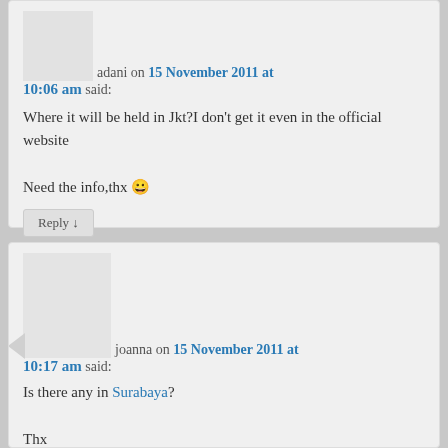adani on 15 November 2011 at 10:06 am said:
Where it will be held in Jkt?I don’t get it even in the official website

Need the info,thx 😀
Reply
joanna on 15 November 2011 at 10:17 am said:
Is there any in Surabaya?

Thx
Reply